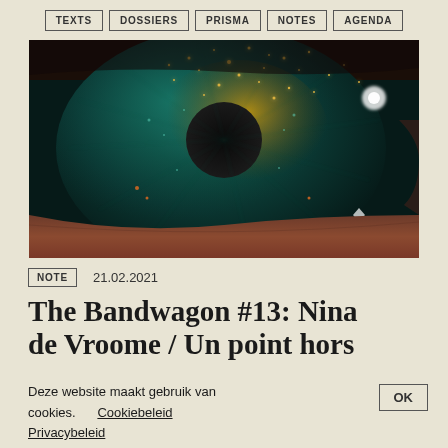TEXTS | DOSSIERS | PRISMA | NOTES | AGENDA
[Figure (photo): Close-up macro photograph of a human eye iris with teal/green coloring and golden sparkling light reflections]
NOTE   21.02.2021
The Bandwagon #13: Nina de Vroome / Un point hors
Deze website maakt gebruik van cookies.   Cookiebeleid   Privacybeleid
OK